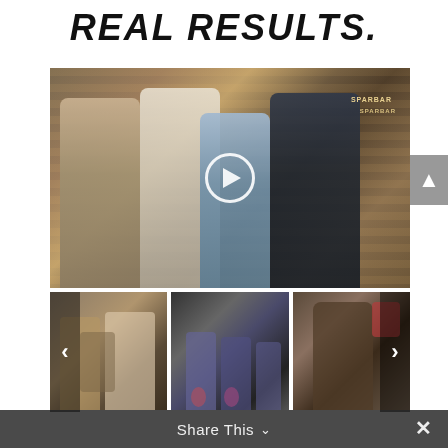REAL RESULTS.
[Figure (photo): Four men standing together in a gym/dojo with wooden panel walls, wearing martial arts gi and casual clothes. A play button overlay is visible in the center of the image.]
[Figure (photo): Thumbnail 1: People in a gym/dojo, martial arts setting]
[Figure (photo): Thumbnail 2: People doing exercises with kettlebells or equipment in a gym]
[Figure (photo): Thumbnail 3: Person working out, viewed from behind]
Share This